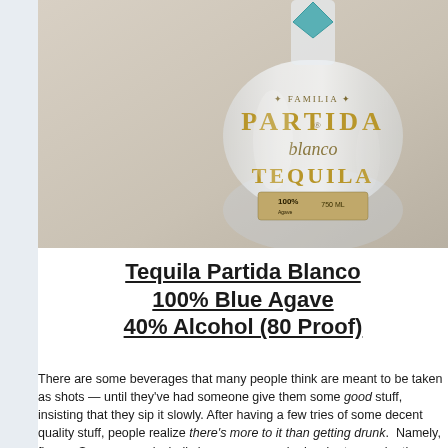[Figure (photo): A bottle of Tequila Partida Blanco with gold lettering on a light beige background. The bottle shows '100%' on a label band and is partially cropped.]
Tequila Partida Blanco 100% Blue Agave 40% Alcohol (80 Proof)
There are some beverages that many people think are meant to be taken as shots — until they've had someone give them some good stuff, insisting that they sip it slowly. After having a few tries of some decent quality stuff, people realize there's more to it than getting drunk. Namely, flavor. Sure, many alcoholic beverages may be harder to acquire than others. But once you get it, you get it. Tequila... is one such drink.